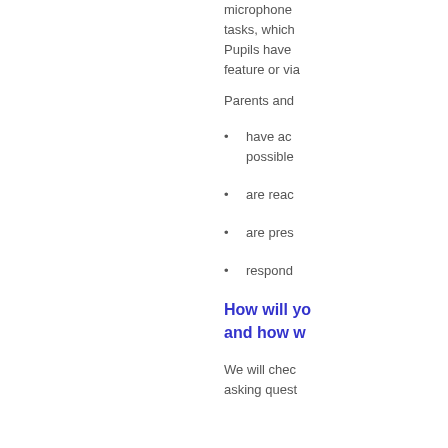microphone tasks, which Pupils have feature or via
Parents and
have access possible
are read
are pres
respond
How will yo and how w
We will chec asking quest